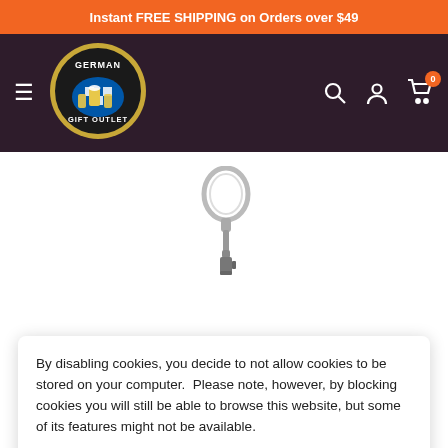Instant FREE SHIPPING on Orders over $49
[Figure (logo): German Gift Outlet logo - circular black badge with beer mugs and Bavarian diamond pattern, white text reading GERMAN GIFT OUTLET]
[Figure (photo): A keychain with a silver ring at top and a small pewter beer stein charm hanging from the bottom]
By disabling cookies, you decide to not allow cookies to be stored on your computer.  Please note, however, by blocking cookies you will still be able to browse this website, but some of its features might not be available.
Accept
[Figure (photo): Bottom of product image showing decorative ceramic beer steins with floral patterns, partially visible]